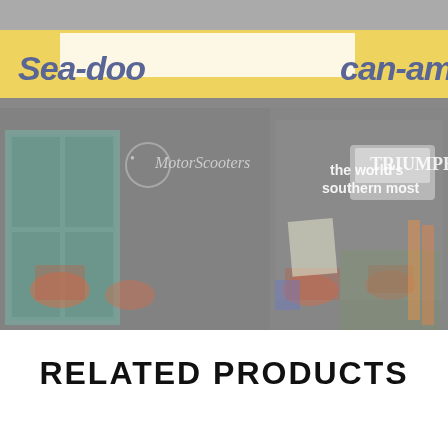[Figure (photo): Exterior photograph of a powersports dealership storefront with a yellow 'Sea-Doo / Can-Am' banner across the top, a teal/green door on the left with 'MotorScooters' logo, signage reading 'the world's southern most' and 'Triumph' brand logo, and various motorcycles and equipment visible through the display windows. The image is slightly faded/muted in tone.]
RELATED PRODUCTS